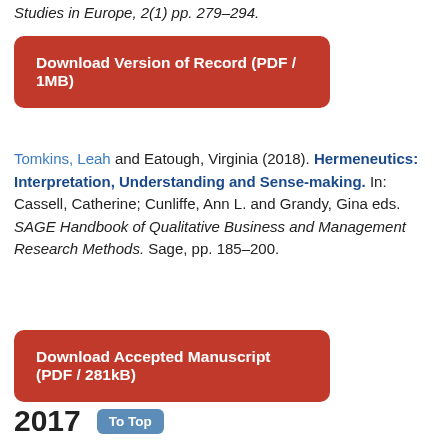Studies in Europe, 2(1) pp. 279–294.
Download Version of Record (PDF / 1MB)
Tomkins, Leah and Eatough, Virginia (2018). Hermeneutics: Interpretation, Understanding and Sense-making. In: Cassell, Catherine; Cunliffe, Ann L. and Grandy, Gina eds. SAGE Handbook of Qualitative Business and Management Research Methods. Sage, pp. 185–200.
Download Accepted Manuscript (PDF / 281kB)
2017
To Top